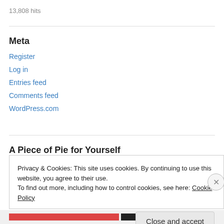13,808 hits
Meta
Register
Log in
Entries feed
Comments feed
WordPress.com
A Piece of Pie for Yourself
Privacy & Cookies: This site uses cookies. By continuing to use this website, you agree to their use.
To find out more, including how to control cookies, see here: Cookie Policy